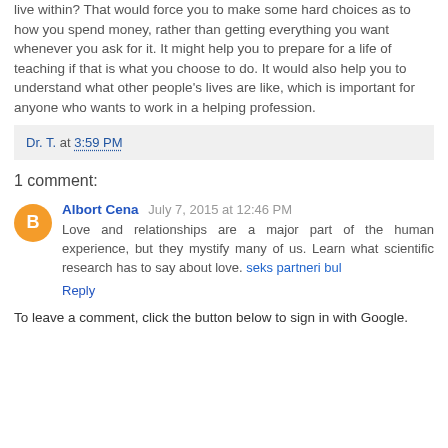live within? That would force you to make some hard choices as to how you spend money, rather than getting everything you want whenever you ask for it. It might help you to prepare for a life of teaching if that is what you choose to do. It would also help you to understand what other people’s lives are like, which is important for anyone who wants to work in a helping profession.
Dr. T. at 3:59 PM
1 comment:
Albort Cena July 7, 2015 at 12:46 PM
Love and relationships are a major part of the human experience, but they mystify many of us. Learn what scientific research has to say about love. seks partneri bul
Reply
To leave a comment, click the button below to sign in with Google.